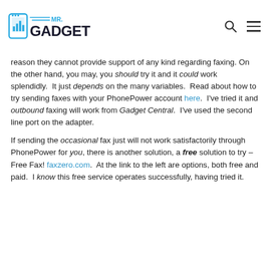Mr. Gadget logo, search icon, menu icon
reason they cannot provide support of any kind regarding faxing. On the other hand, you may, you should try it and it could work splendidly.  It just depends on the many variables.  Read about how to try sending faxes with your PhonePower account here.  I've tried it and outbound faxing will work from Gadget Central.  I've used the second line port on the adapter.
If sending the occasional fax just will not work satisfactorily through PhonePower for you, there is another solution, a free solution to try – Free Fax! faxzero.com.  At the link to the left are options, both free and paid.  I know this free service operates successfully, having tried it.